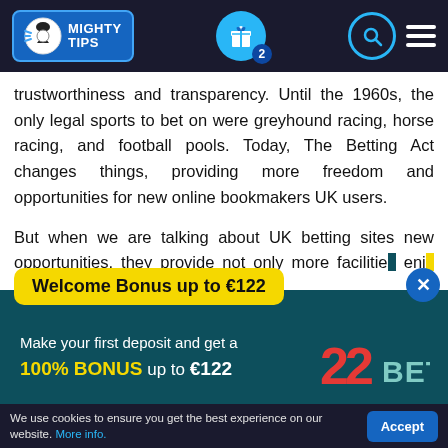[Figure (screenshot): MightyTips website header with logo, gift icon with badge showing 2, search and hamburger menu icons on dark navy background]
trustworthiness and transparency. Until the 1960s, the only legal sports to bet on were greyhound racing, horse racing, and football pools. Today, The Betting Act changes things, providing more freedom and opportunities for new online bookmakers UK users.
But when we are talking about UK betting sites new opportunities, they provide not only more facilities, enjoy and events but also a
[Figure (screenshot): 22Bet promotional popup with yellow banner 'Welcome Bonus up to €122', dark teal background, text 'Make your first deposit and get a 100% BONUS up to €122', 22Bet logo, and green 'CLAIM THE BONUS' button. Close X button in top right.]
We use cookies to ensure you get the best experience on our website. More info.